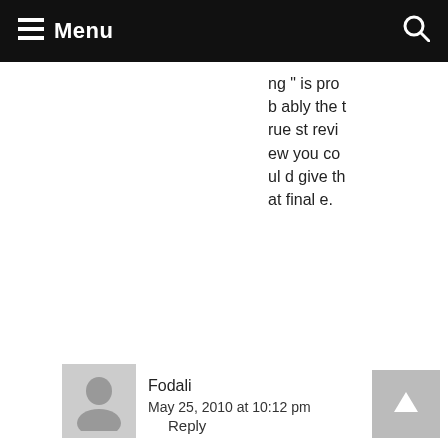Menu
ng " is probably the truest review you could give that finale.
Fodali
May 25, 2010 at 10:12 pm
Reply